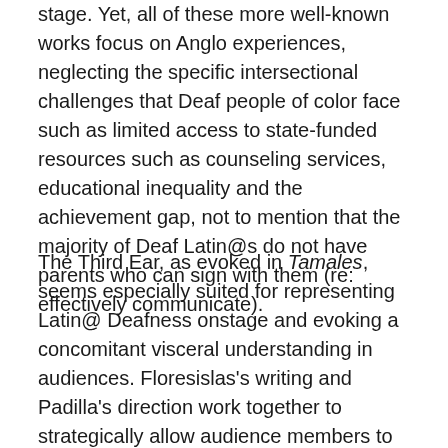stage. Yet, all of these more well-known works focus on Anglo experiences, neglecting the specific intersectional challenges that Deaf people of color face such as limited access to state-funded resources such as counseling services, educational inequality and the achievement gap, not to mention that the majority of Deaf Latin@s do not have parents who can sign with them (re: effectively communicate).
The Third Ear, as evoked in Tamales, seems especially suited for representing Latin@ Deafness onstage and evoking a concomitant visceral understanding in audiences. Floresislas’s writing and Padilla’s direction work together to strategically allow audience members to develop a Third Ear at key moments in the play, enabling them to fill silences they might have otherwise perceived as gaps. Entering Tamales’ silent world not only compels